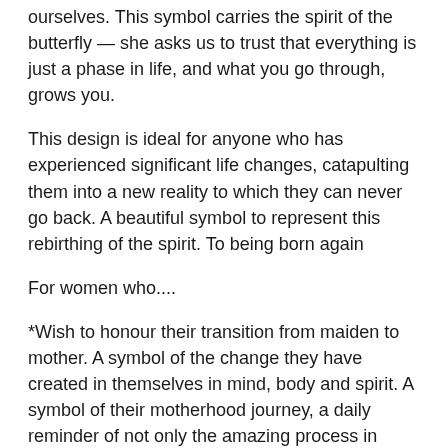ourselves. This symbol carries the spirit of the butterfly — she asks us to trust that everything is just a phase in life, and what you go through, grows you.
This design is ideal for anyone who has experienced significant life changes, catapulting them into a new reality to which they can never go back. A beautiful symbol to represent this rebirthing of the spirit. To being born again
For women who....
*Wish to honour their transition from maiden to mother. A symbol of the change they have created in themselves in mind, body and spirit. A symbol of their motherhood journey, a daily reminder of not only the amazing process in which new life was created, but to also honour and awaken the birth of the mother within, too.
*Have experienced conception challenges, as a talisman of strength and surrender throughout this process, to honour the mother within, despite the physical challenges, to ignite her